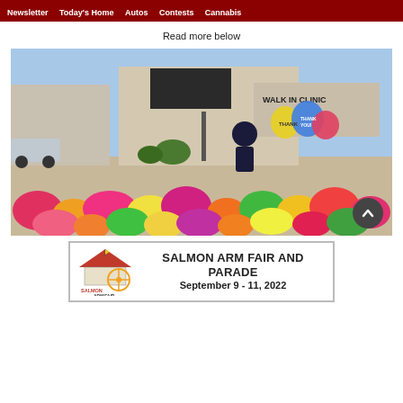Newsletter | Today's Home | Autos | Contests | Cannabis
Read more below
[Figure (photo): A person stands at a memorial outside a Walk In Clinic, surrounded by colorful flowers and balloons on a sunny day.]
[Figure (infographic): Advertisement banner for Salmon Arm Fair and Parade, September 9-11, 2022, with logo on the left.]